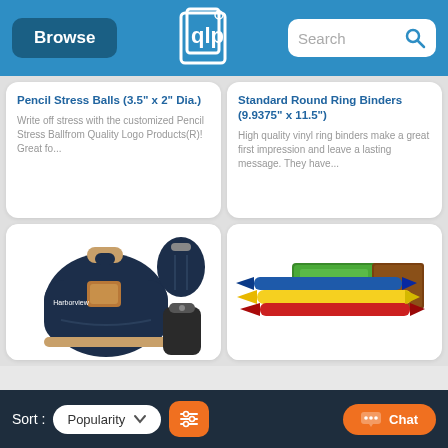Browse | [Quality Logo Products logo] | Search
Pencil Stress Balls (3.5" x 2" Dia.)
Write off stress with the customized Pencil Stress Ballfrom Quality Logo Products(R)! Great fo...
Standard Round Ring Binders (9.9375" x 11.5")
High quality vinyl ring binders make a great first impression and leave a lasting message. They have...
[Figure (photo): Navy blue Harborview backpack shown from front and back angles, with a small black pouch accessory]
[Figure (photo): Colorful crayons (blue, yellow, red) with green and brown Crayola-style box packaging]
Sort: Popularity [filter icon] [Chat button]